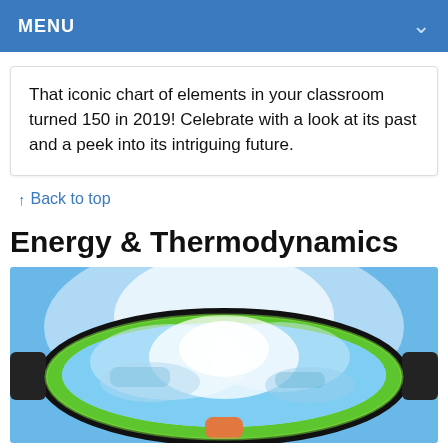MENU
That iconic chart of elements in your classroom turned 150 in 2019! Celebrate with a look at its past and a peek into its intriguing future.
↑ Back to top
Energy & Thermodynamics
[Figure (photo): Close-up photo of ski goggles with green frame, reflecting snowy mountain and sky scene. Blue sky background.]